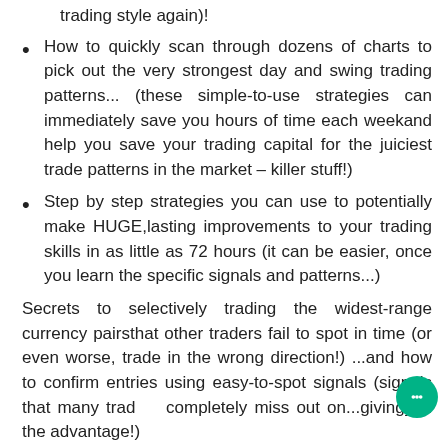trading style again)!
How to quickly scan through dozens of charts to pick out the very strongest day and swing trading patterns... (these simple-to-use strategies can immediately save you hours of time each weekand help you save your trading capital for the juiciest trade patterns in the market – killer stuff!)
Step by step strategies you can use to potentially make HUGE,lasting improvements to your trading skills in as little as 72 hours (it can be easier, once you learn the specific signals and patterns...)
Secrets to selectively trading the widest-range currency pairsthat other traders fail to spot in time (or even worse, trade in the wrong direction!) ...and how to confirm entries using easy-to-spot signals (signals that many traders completely miss out on...givingyou the advantage!)